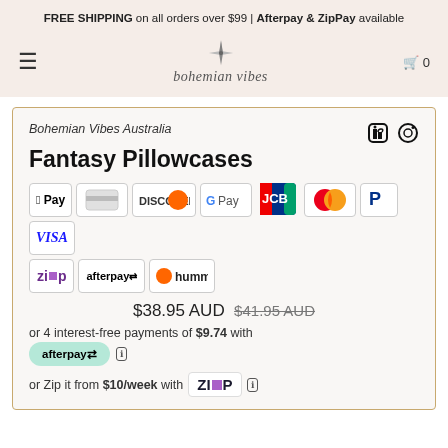FREE SHIPPING on all orders over $99 | Afterpay & ZipPay available
[Figure (logo): Bohemian Vibes logo with compass star and script text 'bohemian vibes']
Bohemian Vibes Australia
Fantasy Pillowcases
[Figure (other): Payment method badges: Apple Pay, Generic card, Discover, Google Pay, JCB, Mastercard, PayPal, VISA, Zip, afterpay, humm]
$38.95 AUD  $41.95 AUD
or 4 interest-free payments of $9.74 with afterpay  ℹ
or Zip it from $10/week with  Zip  ℹ